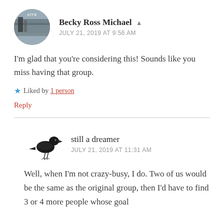[Figure (photo): Circular avatar photo of Becky Ross Michael showing a train station/platform scene]
Becky Ross Michael ▲
JULY 21, 2019 AT 9:56 AM
I'm glad that you're considering this! Sounds like you miss having that group.
★ Liked by 1 person
Reply
[Figure (illustration): Small black crow/raven bird illustration used as avatar for still a dreamer]
still a dreamer
JULY 21, 2019 AT 11:31 AM
Well, when I'm not crazy-busy, I do. Two of us would be the same as the original group, then I'd have to find 3 or 4 more people whose goal